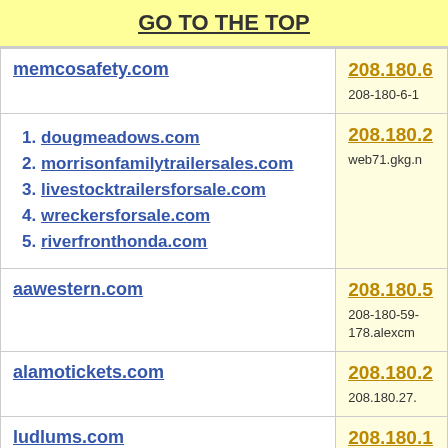GO TO THE TOP
| Domain | IP |
| --- | --- |
| memcosafety.com | 208.180.6... / 208-180-6-1... |
| dougmeadows.com, morrisonfamilytrailersales.com, livestocktrailersforsale.com, wreckersforsale.com, riverfronthonda.com | 208.180.2... / web71.gkg.n... |
| aawestern.com | 208.180.5... / 208-180-59-... / 178.alexcm... |
| alamotickets.com | 208.180.2... / 208.180.27.... |
| ludlums.com | 208.180.1... |